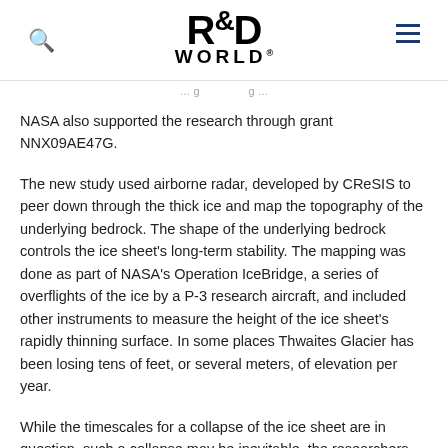R&D WORLD
NASA also supported the research through grant NNX09AE47G.
The new study used airborne radar, developed by CReSIS to peer down through the thick ice and map the topography of the underlying bedrock. The shape of the underlying bedrock controls the ice sheet's long-term stability. The mapping was done as part of NASA's Operation IceBridge, a series of overflights of the ice by a P-3 research aircraft, and included other instruments to measure the height of the ice sheet's rapidly thinning surface. In some places Thwaites Glacier has been losing tens of feet, or several meters, of elevation per year.
While the timescales for a collapse of the ice sheet are in question, such a collapse may be inevitable, the researchers said.